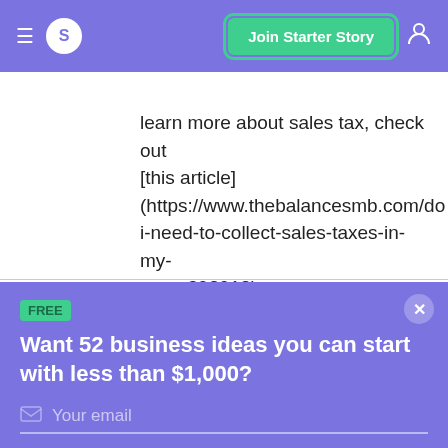S | Join Starter Story
learn more about sales tax, check out [this article] (https://www.thebalancesmb.com/do-i-need-to-collect-sales-taxes-in-my-state-398913)
FREE
Want 52 business ideas you can start with less than $1,000?
Your email
Send Now